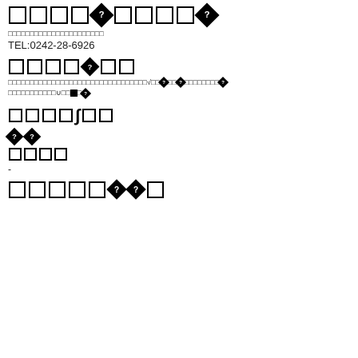□□□□◆□□□□◆ (with box and diamond characters)
□□□□□□□□□□□□□□□□□□□□□□
TEL:0242-28-6926
□□□□◆□□
□□□□□□□□□□□□□□□□□□□□□□□□□□□□□□□□√□□◆□□◆□□□□□□□◆
□□□□□□□□□□□∪□□◆□◆
□□□□∫□□
◆◆
□□□□
-
□□□□□◆◆□